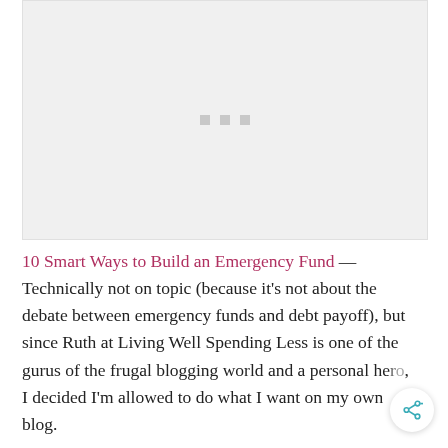[Figure (other): Advertisement placeholder block with three small gray squares centered in a light gray rectangle]
10 Smart Ways to Build an Emergency Fund — Technically not on topic (because it's not about the debate between emergency funds and debt payoff), but since Ruth at Living Well Spending Less is one of the gurus of the frugal blogging world and a personal hero, I decided I'm allowed to do what I want on my own blog.